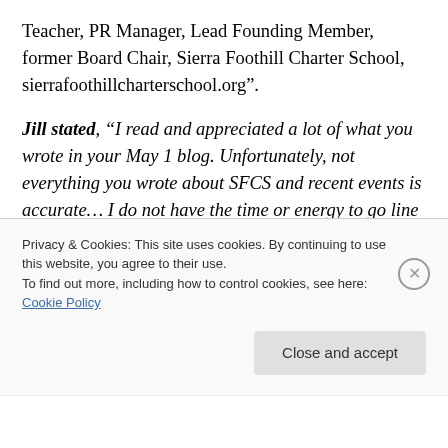Teacher, PR Manager, Lead Founding Member, former Board Chair, Sierra Foothill Charter School, sierrafoothillcharterschool.org".
Jill stated, “I read and appreciated a lot of what you wrote in your May 1 blog. Unfortunately, not everything you wrote about SFCS and recent events is accurate… I do not have the time or energy to go line by line through your blog and point out all the places where you are incorrect in what you are reporting. Instead, I’m attaching clarifying statements from our principal and our board chair.”
Privacy & Cookies: This site uses cookies. By continuing to use this website, you agree to their use. To find out more, including how to control cookies, see here: Cookie Policy